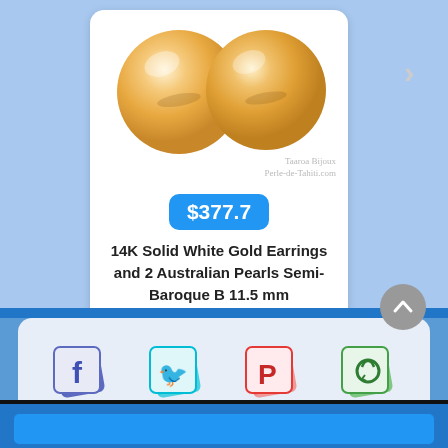[Figure (photo): Two golden/cream colored spherical Australian pearls on white background with 'Taaroa Bijoux Perle-de-Tahiti.com' watermark]
$377.7
14K Solid White Gold Earrings and 2 Australian Pearls Semi-Baroque B 11.5 mm
[Figure (infographic): Social sharing icons: Facebook (blue), Twitter (cyan/blue), Pinterest (red), WhatsApp (green) with stacked card effect. A scroll-to-top circular button with upward chevron is also visible.]